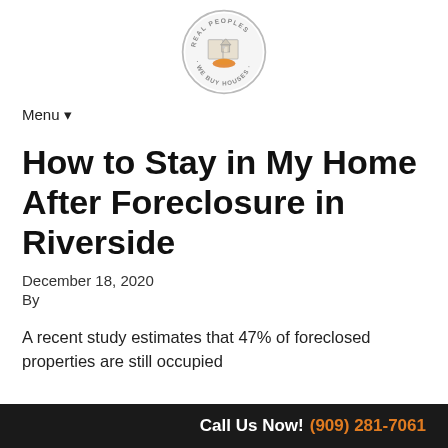[Figure (logo): Circular logo with text 'REAL PEOPLES - WE BUY HOUSES' and an illustration of a house with an open book and a hand]
Menu ▾
How to Stay in My Home After Foreclosure in Riverside
December 18, 2020
By
A recent study estimates that 47% of foreclosed properties are still occupied
Call Us Now! (909) 281-7061